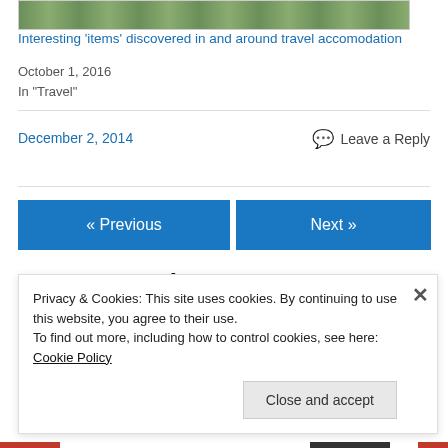[Figure (photo): Outdoor scene with tables and grass, travel accommodation]
Interesting ‘items’ discovered in and around travel accomodation
October 1, 2016
In “Travel”
December 2, 2014
💬 Leave a Reply
« Previous
Next »
Leave a Reply
Privacy & Cookies: This site uses cookies. By continuing to use this website, you agree to their use.
To find out more, including how to control cookies, see here: Cookie Policy
Close and accept